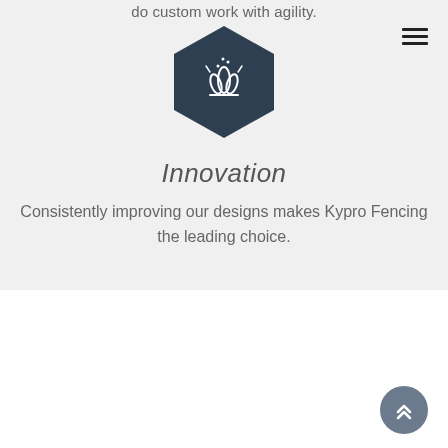do custom work with agility.
[Figure (illustration): Dark hexagon icon with a campfire/spark symbol in white]
Innovation
Consistently improving our designs makes Kypro Fencing the leading choice.
Who We Are